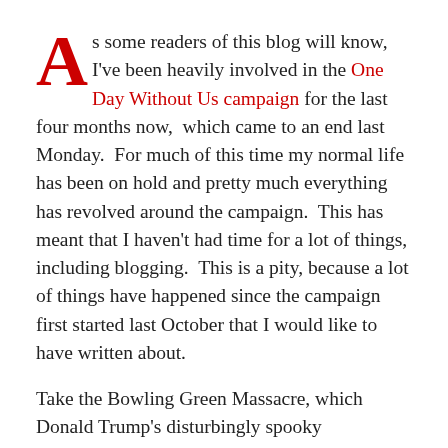As some readers of this blog will know, I've been heavily involved in the One Day Without Us campaign for the last four months now, which came to an end last Monday. For much of this time my normal life has been on hold and pretty much everything has revolved around the campaign. This has meant that I haven't had time for a lot of things, including blogging. This is a pity, because a lot of things have happened since the campaign first started last October that I would like to have written about.
Take the Bowling Green Massacre, which Donald Trump's disturbingly spooky amanuensis Kellyanne Conway referred to on Feb 2 as a justification for her boss's 'Muslim ban.' Now some of you might argue that I needn't or not commenting on something…